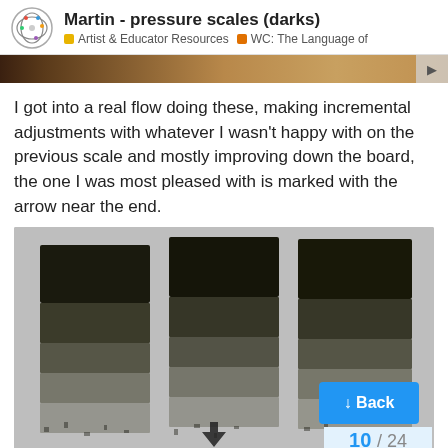Martin - pressure scales (darks) | Artist & Educator Resources | WC: The Language of
[Figure (photo): A horizontal strip preview image showing a warm brown/tan textured surface]
I got into a real flow doing these, making incremental adjustments with whatever I wasn't happy with on the previous scale and mostly improving down the board, the one I was most pleased with is marked with the arrow near the end.
[Figure (photo): Photo of three dark pressure scale swatches made with graphite or charcoal on light gray paper, showing gradations from very dark at top to lighter marks at bottom. An upward arrow is visible at the bottom center. A blue 'Back' button overlay is visible at bottom right, and a '10 / 24' pagination indicator at the very bottom right.]